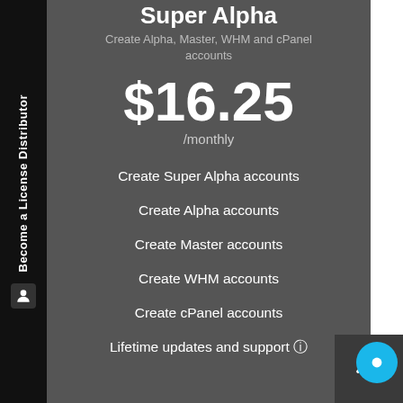Super Alpha
Create Alpha, Master, WHM and cPanel accounts
$16.25
/monthly
Create Super Alpha accounts
Create Alpha accounts
Create Master accounts
Create WHM accounts
Create cPanel accounts
Lifetime updates and support ℹ
Become a License Distributor